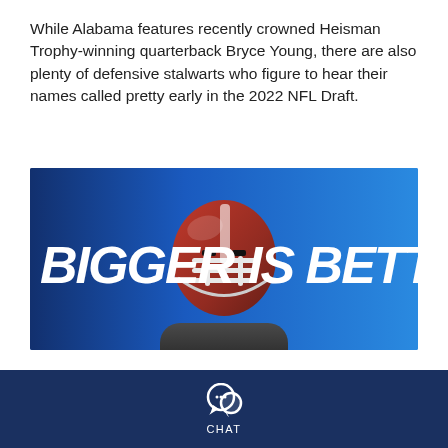While Alabama features recently crowned Heisman Trophy-winning quarterback Bryce Young, there are also plenty of defensive stalwarts who figure to hear their names called pretty early in the 2022 NFL Draft.
[Figure (photo): Promotional banner image with dark blue background showing a football player wearing a helmet (red/white helmet with white face mask) centered, with bold white italic text 'BIGGER IS BETTER' spanning the banner.]
Alabama's Will Anderson leads the country in both sacks and tackles for loss. Georgia's Jordan Davis doesn't have the stats that Anderson possesses but anybody
CHAT